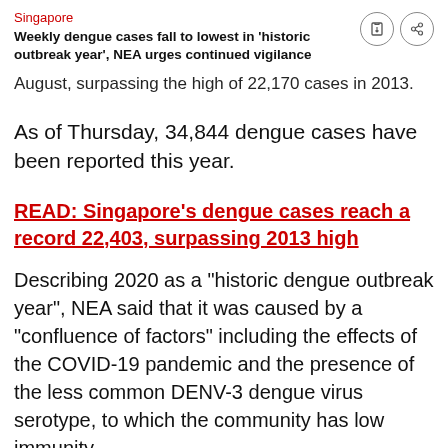Singapore
Weekly dengue cases fall to lowest in 'historic outbreak year', NEA urges continued vigilance
August, surpassing the high of 22,170 cases in 2013.
As of Thursday, 34,844 dengue cases have been reported this year.
READ: Singapore's dengue cases reach a record 22,403, surpassing 2013 high
Describing 2020 as a "historic dengue outbreak year", NEA said that it was caused by a "confluence of factors" including the effects of the COVID-19 pandemic and the presence of the less common DENV-3 dengue virus serotype, to which the community has low immunity.
Weekly cases rose sharply in May shortly after the